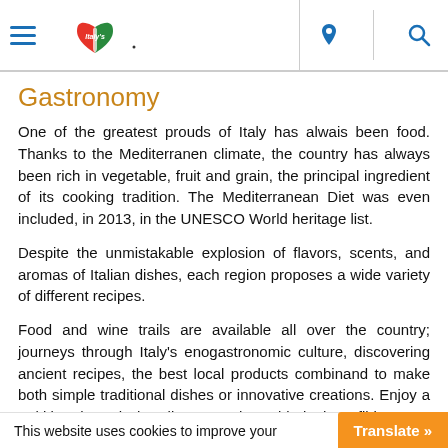Italy's logo header with hamburger menu, location icon, and search icon
Gastronomy
One of the greatest prouds of Italy has alwais been food. Thanks to the Mediterranen climate, the country has always been rich in vegetable, fruit and grain, the principal ingredient of its cooking tradition. The Mediterranean Diet was even included, in 2013, in the UNESCO World heritage list.
Despite the unmistakable explosion of flavors, scents, and aromas of Italian dishes, each region proposes a wide variety of different recipes.
Food and wine trails are available all over the country; journeys through Italy's enogastronomic culture, discovering ancient recipes, the best local products combinand to make both simple traditional dishes or innovative creations. Enjoy a trekking through the olive trees the golded wheat filds, or on the hills covered by vineyards.
This website uses cookies to improve your